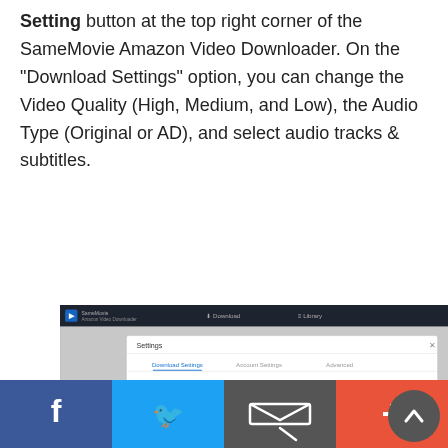Setting button at the top right corner of the SameMovie Amazon Video Downloader. On the "Download Settings" option, you can change the Video Quality (High, Medium, and Low), the Audio Type (Original or AD), and select audio tracks & subtitles.
[Figure (screenshot): Screenshot of SameMovie Amazon Video Downloader settings dialog showing Download Settings tab with fields for Video Format (MP4), Video Quality (High), Audio Language (English) with checkboxes, Subtitle Language (English), Save subtitle as, and Output Folder options.]
[Figure (infographic): Social sharing bar at bottom with Facebook, Twitter, email/share, and plus buttons in blue, light blue, dark gray, and orange-red colors respectively.]